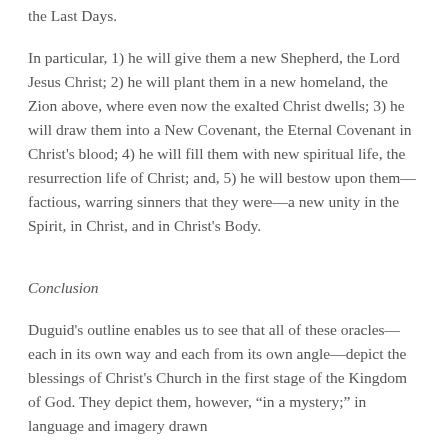the Last Days.
In particular, 1) he will give them a new Shepherd, the Lord Jesus Christ; 2) he will plant them in a new homeland, the Zion above, where even now the exalted Christ dwells; 3) he will draw them into a New Covenant, the Eternal Covenant in Christ's blood; 4) he will fill them with new spiritual life, the resurrection life of Christ; and, 5) he will bestow upon them—factious, warring sinners that they were—a new unity in the Spirit, in Christ, and in Christ's Body.
Conclusion
Duguid's outline enables us to see that all of these oracles—each in its own way and each from its own angle—depict the blessings of Christ's Church in the first stage of the Kingdom of God. They depict them, however, "in a mystery;" in language and imagery drawn